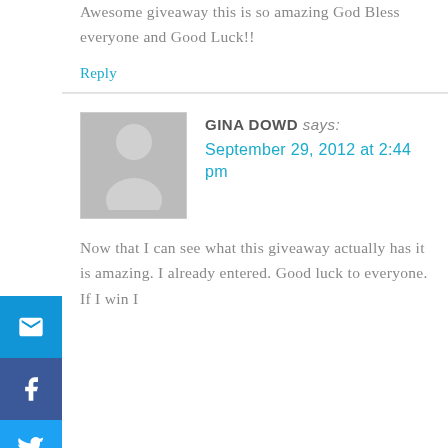Awesome giveaway this is so amazing God Bless everyone and Good Luck!!
Reply
GINA DOWD says:
September 29, 2012 at 2:44 pm
[Figure (illustration): Default grey avatar placeholder image showing a silhouette of a person]
Now that I can see what this giveaway actually has it is amazing. I already entered. Good luck to everyone. If I win I